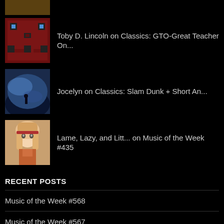[Figure (screenshot): Partial avatar image at top of page, cropped]
Toby D. Lincoln on Classics: GTO-Great Teacher On...
Jocelyn on Classics: Slam Dunk + Short An...
Lame, Lazy, and Litt... on Music of the Week #435
RECENT POSTS
Music of the Week #568
Music of the Week #567
Music of the Week #566
Music of the Week #564-565